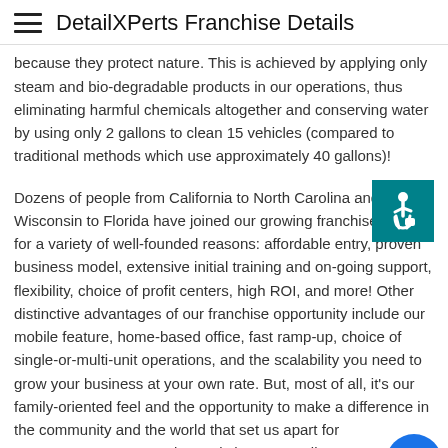DetailXPerts Franchise Details
because they protect nature. This is achieved by applying only steam and bio-degradable products in our operations, thus eliminating harmful chemicals altogether and conserving water by using only 2 gallons to clean 15 vehicles (compared to traditional methods which use approximately 40 gallons)!
Dozens of people from California to North Carolina and from Wisconsin to Florida have joined our growing franchise family for a variety of well-founded reasons: affordable entry, proven business model, extensive initial training and on-going support, flexibility, choice of profit centers, high ROI, and more! Other distinctive advantages of our franchise opportunity include our mobile feature, home-based office, fast ramp-up, choice of single-or-multi-unit operations, and the scalability you need to grow your business at your own rate. But, most of all, it’s our family-oriented feel and the opportunity to make a difference in the community and the world that set us apart for entrepreneurs to recognize and choose DetailXPerts as their trusted partner in establishing a successful business of their